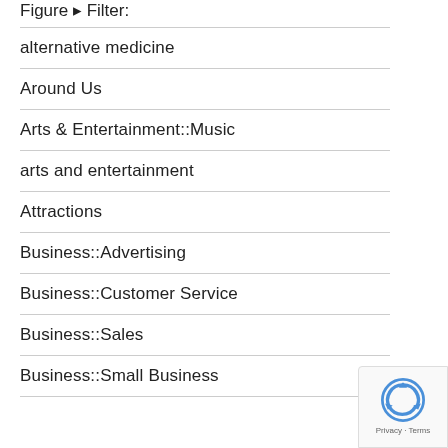Figure ▸ Filter:
alternative medicine
Around Us
Arts & Entertainment::Music
arts and entertainment
Attractions
Business::Advertising
Business::Customer Service
Business::Sales
Business::Small Business